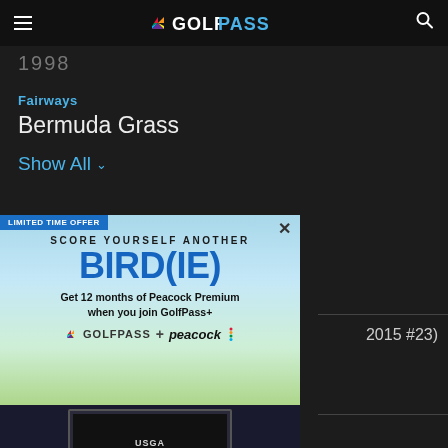GOLFPASS
1998
Fairways
Bermuda Grass
Show All
[Figure (screenshot): GolfPass promotional advertisement overlay with 'LIMITED TIME OFFER' banner. Headline: 'SCORE YOURSELF ANOTHER BIRD(IE)'. Copy: 'Get 12 months of Peacock Premium when you join GolfPass+'. GolfPass + Peacock logos. TV screen showing USGA golf content. JOIN NOW button. Disclaimer: '$4.99/mo vs us. Eligibility restrictions and terms apply.']
2015 #23)